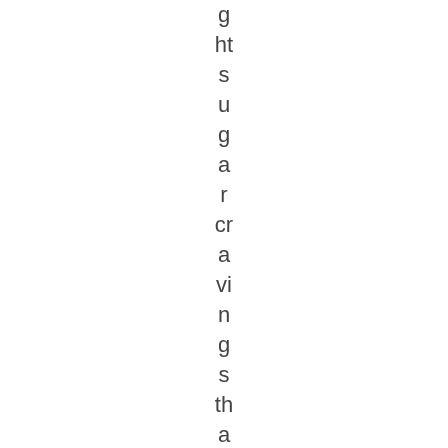g ht s u g a r cr a vi n g s th a t a re